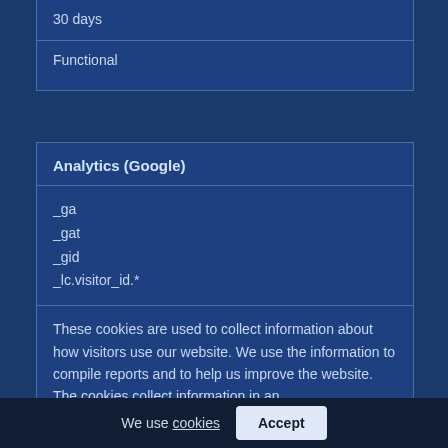30 days
Functional
Analytics (Google)
_ga
_gat
_gid
_lc.visitor_id.*
These cookies are used to collect information about how visitors use our website. We use the information to compile reports and to help us improve the website. The cookies collect information in an
We use cookies  Accept